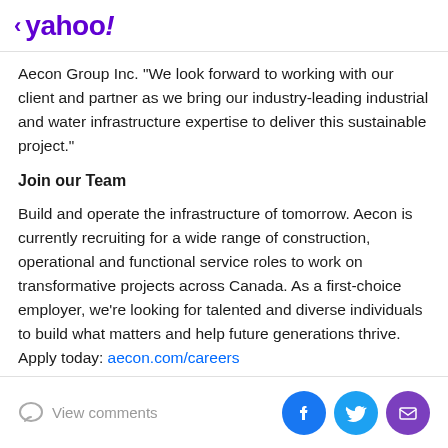< yahoo!
Aecon Group Inc. "We look forward to working with our client and partner as we bring our industry-leading industrial and water infrastructure expertise to deliver this sustainable project."
Join our Team
Build and operate the infrastructure of tomorrow. Aecon is currently recruiting for a wide range of construction, operational and functional service roles to work on transformative projects across Canada. As a first-choice employer, we're looking for talented and diverse individuals to build what matters and help future generations thrive. Apply today: aecon.com/careers
View comments